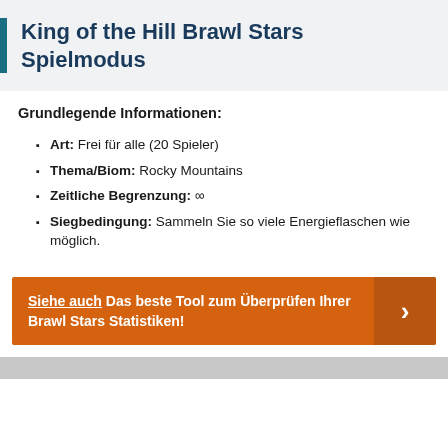King of the Hill Brawl Stars Spielmodus
Grundlegende Informationen:
Art: Frei für alle (20 Spieler)
Thema/Biom: Rocky Mountains
Zeitliche Begrenzung: ∞
Siegbedingung: Sammeln Sie so viele Energieflaschen wie möglich.
Siehe auch Das beste Tool zum Überprüfen Ihrer Brawl Stars Statistiken!